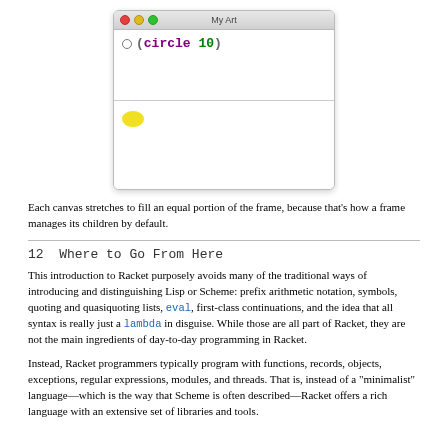[Figure (screenshot): A macOS-style window titled 'My Art' showing a Racket IDE with code '(circle 10)' in the top pane and a yellow ellipse rendered in the output pane below.]
Each canvas stretches to fill an equal portion of the frame, because that's how a frame manages its children by default.
12  Where to Go From Here
This introduction to Racket purposely avoids many of the traditional ways of introducing and distinguishing Lisp or Scheme: prefix arithmetic notation, symbols, quoting and quasiquoting lists, eval, first-class continuations, and the idea that all syntax is really just a lambda in disguise. While those are all part of Racket, they are not the main ingredients of day-to-day programming in Racket.
Instead, Racket programmers typically program with functions, records, objects, exceptions, regular expressions, modules, and threads. That is, instead of a “minimalist” language—which is the way that Scheme is often described—Racket offers a rich language with an extensive set of libraries and tools.